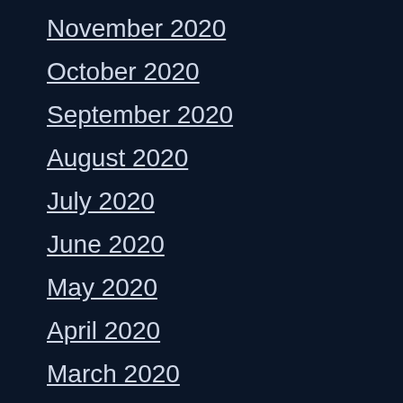November 2020
October 2020
September 2020
August 2020
July 2020
June 2020
May 2020
April 2020
March 2020
February 2020
January 2020